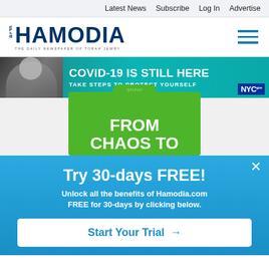Latest News  Subscribe  Log In  Advertise
[Figure (logo): Hamodia newspaper logo — text reads HAMODIA, THE DAILY NEWSPAPER OF TORAH JEWRY, with hamburger menu icon on right]
[Figure (infographic): COVID-19 banner advertisement showing a masked person on phone with text COVID-19 IS STILL HERE and TAKE STEPS TO PROTECT YOURSELF, with NYC logo]
[Figure (illustration): Green card with notch at top showing partial text FROM CHAOS TO]
Try 30-days FREE! Unlock all the benefits of Hamodia.com FREE for 30-days by clicking below.
Start Your Trial →